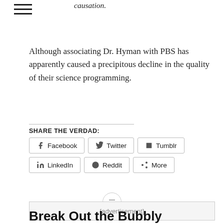…that is Dr. Hyman. Association is not causation.
Although associating Dr. Hyman with PBS has apparently caused a precipitous decline in the quality of their science programming.
SHARE THE VERDAD:
Facebook  Twitter  Tumblr  LinkedIn  Reddit  More
{advertisement}
Break Out the Bubbly